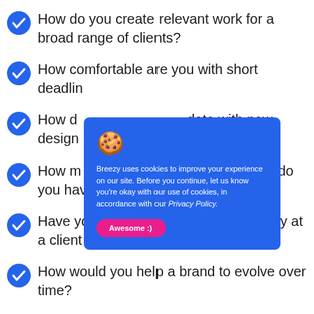How do you create relevant work for a broad range of clients?
How comfortable are you with short deadlines?
How do you stay up-to-date with new design trends and tools?
How much management experience do you have?
Have you ever represented your agency at a client meeting? What happened?
How would you help a brand to evolve over time?
[Figure (screenshot): Cookie consent popup with blue background, cookie emoji icon, text reading 'Breezy uses cookies to improve your experience on our site. Before you continue, let us know you’re okay with our use of cookies, in accordance with our Privacy Policy.' and a pink 'Awesome :)' button.]